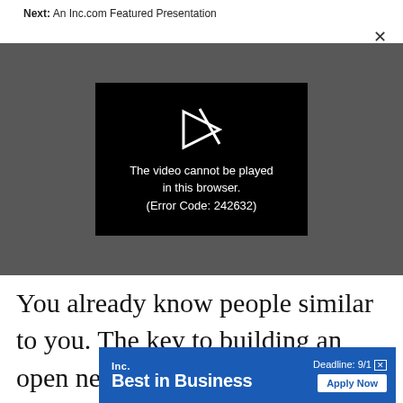Next: An Inc.com Featured Presentation
[Figure (screenshot): Video player with dark gray background showing an embedded black video error box. The error box contains a white broken play icon and white text reading: The video cannot be played in this browser. (Error Code: 242632)]
You already know people similar to you. The key to building an open network is meeting a few people unlike you.
[Figure (infographic): Inc. Best in Business advertisement banner with blue background. Shows Inc. logo, 'Best in Business' text in bold white, deadline text 'Deadline: 9/1' and 'Apply Now' button in white.]